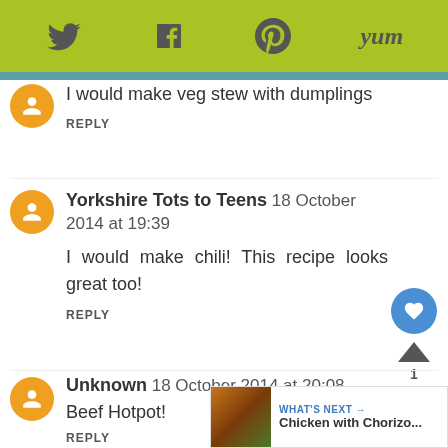[Figure (screenshot): Social sharing bar with Twitter, Facebook, Pinterest, and Yummly icons on green background]
I would make veg stew with dumplings
REPLY
Yorkshire Tots to Teens 18 October 2014 at 19:39
I would make chili! This recipe looks great too!
REPLY
Unknown 18 October 2014 at 20:08
Beef Hotpot!
REPLY
WHAT'S NEXT → Chicken with Chorizo...